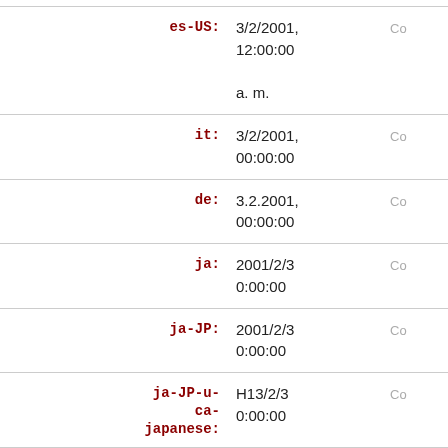| Locale | Formatted Date/Time | Copy |
| --- | --- | --- |
| es-US: | 3/2/2001, 12:00:00 a. m. | Co |
| it: | 3/2/2001, 00:00:00 | Co |
| de: | 3.2.2001, 00:00:00 | Co |
| ja: | 2001/2/3 0:00:00 | Co |
| ja-JP: | 2001/2/3 0:00:00 | Co |
| ja-JP-u-ca-japanese: | H13/2/3 0:00:00 | Co |
| zh: | 2001/2/3 00:00:00 | Co |